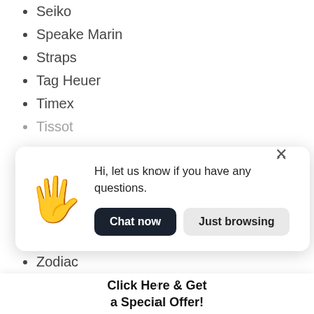Seiko
Speake Marin
Straps
Tag Heuer
Timex
Tissot
[Figure (screenshot): Chat popup widget with waving hand emoji. Text: 'Hi, let us know if you have any questions.' Two buttons: 'Chat now' (dark) and 'Just browsing' (light). Close X button top right.]
Zodiac
[Figure (screenshot): Message input bar with placeholder 'Write a message...' and send arrow button, plus a circular avatar photo.]
[Figure (screenshot): Article thumbnail showing two watch movements side by side labeled 'OMEGA 8800 VS OMEGA 8900']
OMEGA 8800 VS. OMEGA 8900 (THE AGE-OLD DEBATE ENDS TODAY!)
by William Boyd — August 22, 2022
Click Here & Get a Special Offer!